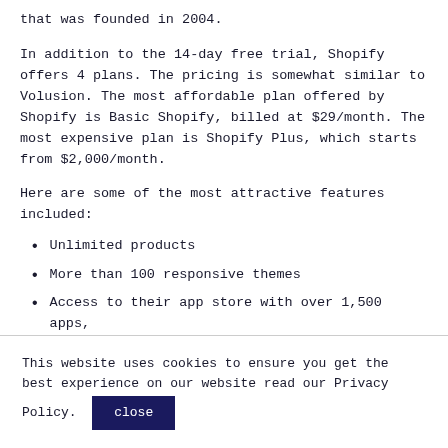that was founded in 2004.
In addition to the 14-day free trial, Shopify offers 4 plans. The pricing is somewhat similar to Volusion. The most affordable plan offered by Shopify is Basic Shopify, billed at $29/month. The most expensive plan is Shopify Plus, which starts from $2,000/month.
Here are some of the most attractive features included:
Unlimited products
More than 100 responsive themes
Access to their app store with over 1,500 apps,
This website uses cookies to ensure you get the best experience on our website read our Privacy Policy.